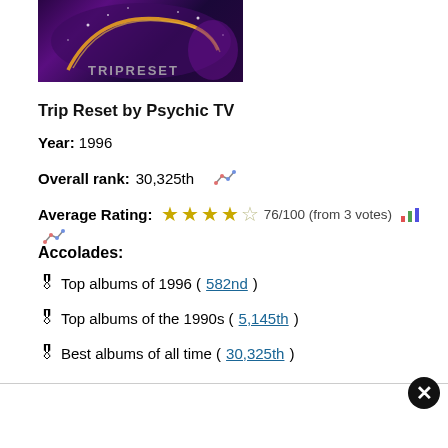[Figure (photo): Album cover for Trip Reset by Psychic TV — dark purple cosmic swirl with 'TRIPRESET' text at bottom]
Trip Reset by Psychic TV
Year: 1996
Overall rank: 30,325th
Average Rating: 76/100 (from 3 votes)
Accolades:
Top albums of 1996 (582nd)
Top albums of the 1990s (5,145th)
Best albums of all time (30,325th)